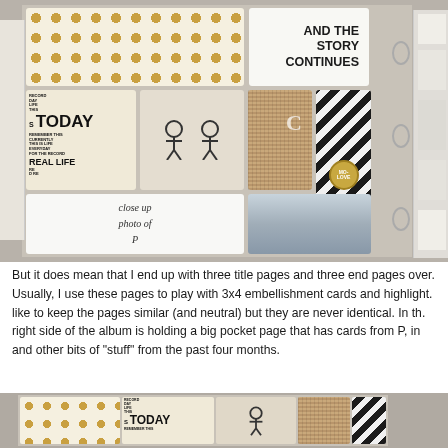[Figure (photo): Open ring-bound scrapbook album showing pocket pages with embellishment cards including gold polka dot card, 'AND THE STORY CONTINUES' card, typography word card with TODAY/REAL LIFE, icon card with two person symbols, burlap/texture card, black and white striped card with gold badge, blank white card with handwriting 'close up photo of P', and portrait photo card of smiling man in blue shirt with letter E]
But it does mean that I end up with three title pages and three end pages over. Usually, I use these pages to play with 3x4 embellishment cards and highlight. like to keep the pages similar (and neutral) but they are never identical. In th. right side of the album is holding a big pocket page that has cards from P, in and other bits of "stuff" from the past four months.
[Figure (photo): Partial view of another open scrapbook album showing similar pocket pages with gold polka dot pattern, typography word card with TODAY/REMEMBER THIS, person icon card, burlap texture card, and black and white striped card]